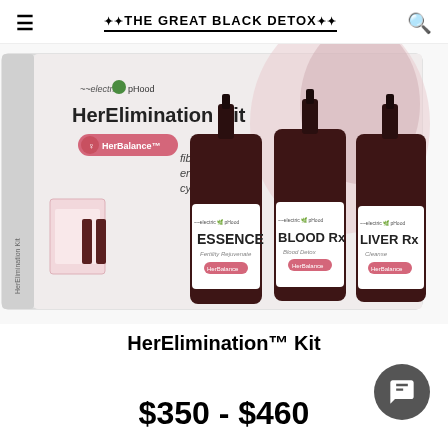**THE GREAT BLACK DETOX**
[Figure (photo): Product photo of electric pHood HerElimination Kit box with three dark glass dropper bottles labeled ESSENCE, BLOOD Rx, and LIVER Rx. Box text reads: fibroids, PCOS, endometriosis, cysts, infertility. HerBalance branding visible on box.]
HerElimination™ Kit
$350 - $460